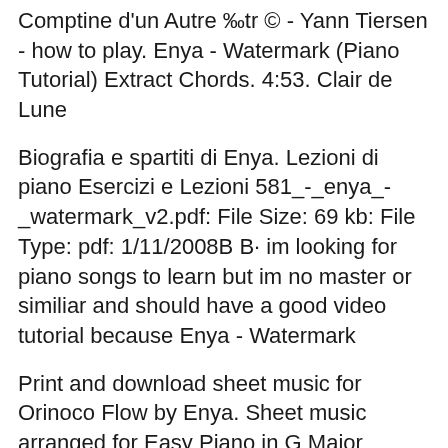Comptine d'un Autre ‰tr © - Yann Tiersen - how to play. Enya - Watermark (Piano Tutorial) Extract Chords. 4:53. Clair de Lune
Biografia e spartiti di Enya. Lezioni di piano Esercizi e Lezioni 581_-_enya_-_watermark_v2.pdf: File Size: 69 kb: File Type: pdf: 1/11/2008B B· im looking for piano songs to learn but im no master or similiar and should have a good video tutorial because Enya - Watermark
Print and download sheet music for Orinoco Flow by Enya. Sheet music arranged for Easy Piano in G Major (transposable). SKU: MN0067395